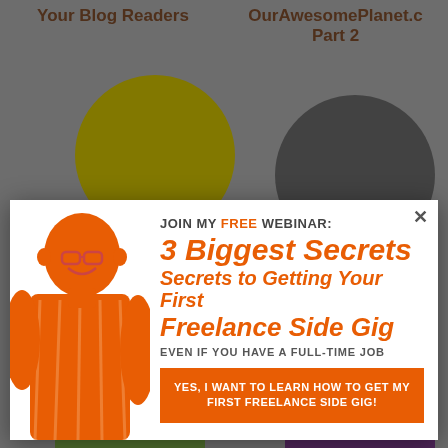Your Blog Readers
OurAwesomePlanet.c Part 2
[Figure (screenshot): Pop-up modal advertisement for a free webinar titled '3 Biggest Secrets to Getting Your First Freelance Side Gig Even If You Have a Full-Time Job'. Features an orange-colored illustration of a man on the left side. Contains a CTA button: 'YES, I WANT TO LEARN HOW TO GET MY FIRST FREELANCE SIDE GIG!']
Blogger at AskMeWhats.com
Podcast
[Figure (logo): SUMO badge/logo in white rounded rectangle]